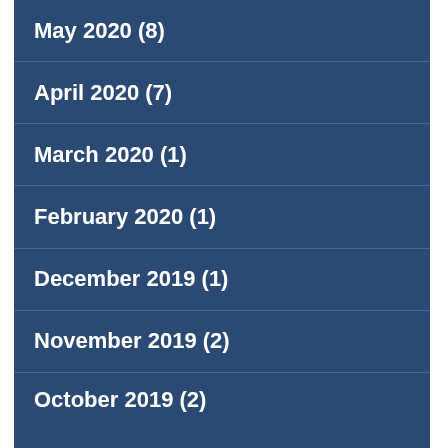May 2020 (8)
April 2020 (7)
March 2020 (1)
February 2020 (1)
December 2019 (1)
November 2019 (2)
October 2019 (2)